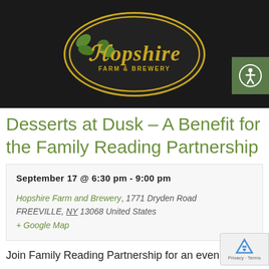[Figure (logo): Hopshire Farm & Brewery logo — dark oval with gold border, gold decorative text 'Hopshire' with green hop leaf decorations, and 'Farm & Brewery' subtitle. Black header bar background with accessibility icon (green square with white person icon) in top right corner.]
Desserts at Dusk – A Benefit for the Family Reading Partnership
September 17 @ 6:30 pm - 9:00 pm
Hopshire Farm and Brewery, 1771 Dryden Road FREEVILLE, NY 13068 United States + Google Map
Join Family Reading Partnership for an evening of delicious dessert tastings, local libations, a unique silent auction, art gallery, online auction featuring original children's literature illustrators, raffles, and